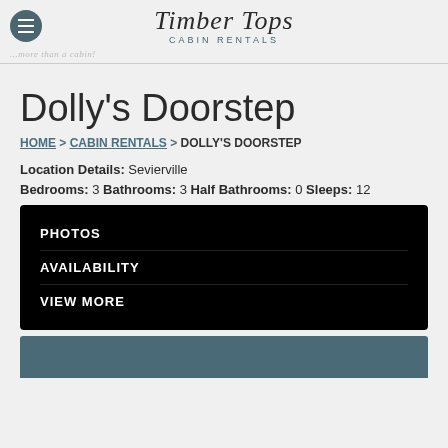Timber Tops CABIN RENTALS ...more than a cabin!
Dolly's Doorstep
HOME > CABIN RENTALS > DOLLY'S DOORSTEP
Location Details: Sevierville
Bedrooms: 3 Bathrooms: 3 Half Bathrooms: 0 Sleeps: 12
PHOTOS
AVAILABILITY
VIEW MORE
[Figure (photo): Blue/teal colored cabin photo strip at the bottom]